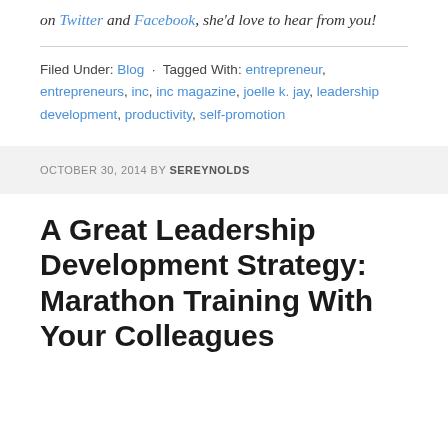on Twitter and Facebook, she'd love to hear from you!
Filed Under: Blog · Tagged With: entrepreneur, entrepreneurs, inc, inc magazine, joelle k. jay, leadership development, productivity, self-promotion
OCTOBER 30, 2014 BY SEREYNOLDS
A Great Leadership Development Strategy: Marathon Training With Your Colleagues